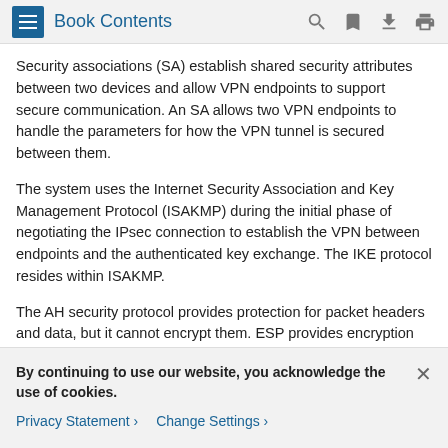Book Contents
Security associations (SA) establish shared security attributes between two devices and allow VPN endpoints to support secure communication. An SA allows two VPN endpoints to handle the parameters for how the VPN tunnel is secured between them.
The system uses the Internet Security Association and Key Management Protocol (ISAKMP) during the initial phase of negotiating the IPsec connection to establish the VPN between endpoints and the authenticated key exchange. The IKE protocol resides within ISAKMP.
The AH security protocol provides protection for packet headers and data, but it cannot encrypt them. ESP provides encryption and protection for packets, but it cannot secure the outermost IP header. In many cases, this protection is not
By continuing to use our website, you acknowledge the use of cookies.
Privacy Statement › Change Settings ›